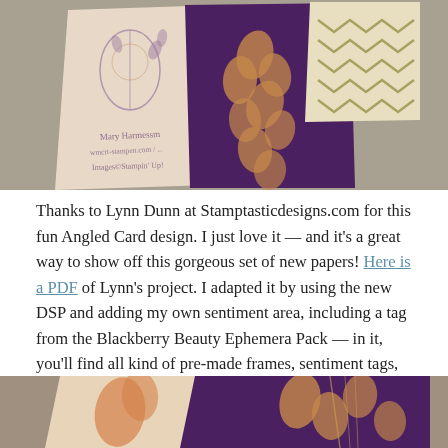[Figure (photo): Top photo showing decorative stamped cards with purple, orange, and gold botanical patterns fanned out, with handwritten watermark text 'Mary Harnessm', 'wmcrt-stampen.com', 'Images©Stampin' Up']
Thanks to Lynn Dunn at Stamptasticdesigns.com for this fun Angled Card design. I just love it — and it's a great way to show off this gorgeous set of new papers! Here is a PDF of Lynn's project. I adapted it by using the new DSP and adding my own sentiment area, including a tag from the Blackberry Beauty Ephemera Pack — in it, you'll find all kind of pre-made frames, sentiment tags, and other graphic pieces, all ready to go!
[Figure (photo): Bottom partial photo showing decorative cards with purple, orange and gold autumn leaf patterns]